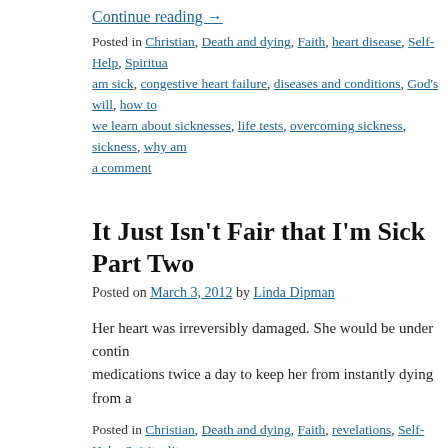Continue reading →
Posted in Christian, Death and dying, Faith, heart disease, Self-Help, Spiritua... am sick, congestive heart failure, diseases and conditions, God's will, how to... we learn about sicknesses, life tests, overcoming sickness, sickness, why am... a comment
It Just Isn't Fair that I'm Sick Part Two
Posted on March 3, 2012 by Linda Dipman
Her heart was irreversibly damaged. She would be under contin... medications twice a day to keep her from instantly dying from a...
Posted in Christian, Death and dying, Faith, revelations, Self-Help, Spirituality... sick, congestive heart failure, God's will, how to handle sickness, lessons we... why am I sick | Leave a comment
It Just It's Fair That I'm Sick Part One
Posted on February 25, 2012 by Linda Dipman